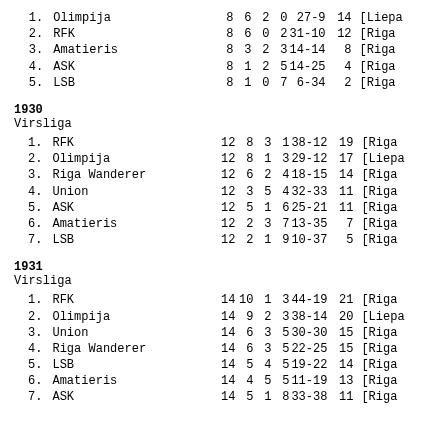| # | Team | G | W | D | L | GD | Pts | Club |
| --- | --- | --- | --- | --- | --- | --- | --- | --- |
| 1. | Olimpija | 8 | 6 | 2 | 0 | 27-9 | 14 | [Liepa] |
| 2. | RFK | 8 | 6 | 0 | 2 | 31-10 | 12 | [Riga] |
| 3. | Amatieris | 8 | 3 | 2 | 3 | 14-14 | 8 | [Riga] |
| 4. | ASK | 8 | 1 | 2 | 5 | 14-25 | 4 | [Riga] |
| 5. | LSB | 8 | 1 | 0 | 7 | 6-34 | 2 | [Riga] |
1930
Virsliga
| # | Team | G | W | D | L | GD | Pts | Club |
| --- | --- | --- | --- | --- | --- | --- | --- | --- |
| 1. | RFK | 12 | 8 | 3 | 1 | 38-12 | 19 | [Riga] |
| 2. | Olimpija | 12 | 8 | 1 | 3 | 29-12 | 17 | [Liepa] |
| 3. | Riga Wanderer | 12 | 6 | 2 | 4 | 18-15 | 14 | [Riga] |
| 4. | Union | 12 | 3 | 5 | 4 | 32-33 | 11 | [Riga] |
| 5. | ASK | 12 | 5 | 1 | 6 | 25-21 | 11 | [Riga] |
| 6. | Amatieris | 12 | 2 | 3 | 7 | 13-35 | 7 | [Riga] |
| 7. | LSB | 12 | 2 | 1 | 9 | 10-37 | 5 | [Riga] |
1931
Virsliga
| # | Team | G | W | D | L | GD | Pts | Club |
| --- | --- | --- | --- | --- | --- | --- | --- | --- |
| 1. | RFK | 14 | 10 | 1 | 3 | 44-19 | 21 | [Riga] |
| 2. | Olimpija | 14 | 9 | 2 | 3 | 38-14 | 20 | [Liepa] |
| 3. | Union | 14 | 6 | 3 | 5 | 30-30 | 15 | [Riga] |
| 4. | Riga Wanderer | 14 | 6 | 3 | 5 | 22-25 | 15 | [Riga] |
| 5. | LSB | 14 | 5 | 4 | 5 | 19-22 | 14 | [Riga] |
| 6. | Amatieris | 14 | 4 | 5 | 5 | 11-19 | 13 | [Riga] |
| 7. | ASK | 14 | 5 | 1 | 8 | 33-38 | 11 | [Riga] |